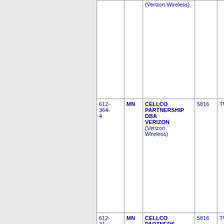| Phone | State | Company | Num | Location |
| --- | --- | --- | --- | --- |
|  |  | (Verizon Wireless) |  |  |
| 612-364-4 | MN | CELLCO PARTNERSHIP DBA VERIZON (Verizon Wireless) | 5816 | TWINC... |
| 612-... | MN | CELLCO PARTNERSHIP... | 5816 | TWINC... |